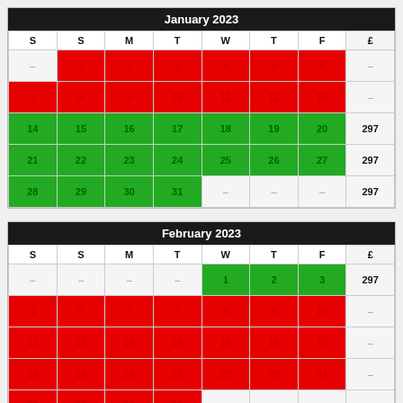| S | S | M | T | W | T | F | £ |
| --- | --- | --- | --- | --- | --- | --- | --- |
| - | 1 | 2 | 3 | 4 | 5 | 6 | - |
| 7 | 8 | 9 | 10 | 11 | 12 | 13 | - |
| 14 | 15 | 16 | 17 | 18 | 19 | 20 | 297 |
| 21 | 22 | 23 | 24 | 25 | 26 | 27 | 297 |
| 28 | 29 | 30 | 31 | - | - | - | 297 |
| S | S | M | T | W | T | F | £ |
| --- | --- | --- | --- | --- | --- | --- | --- |
| - | - | - | - | 1 | 2 | 3 | 297 |
| 4 | 5 | 6 | 7 | 8 | 9 | 10 | - |
| 11 | 12 | 13 | 14 | 15 | 16 | 17 | - |
| 18 | 19 | 20 | 21 | 22 | 23 | 24 | - |
| 25 | 26 | 27 | 28 | - | - | - | - |